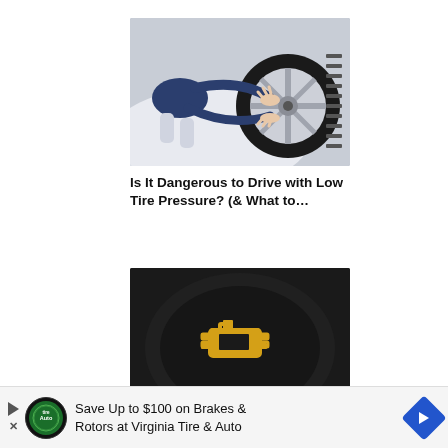[Figure (photo): Person crouching next to a car tire, examining or adjusting a snow-covered/winter tire on a silver/white wheel.]
Is It Dangerous to Drive with Low Tire Pressure? (& What to…
[Figure (photo): Close-up of a dark car dashboard/instrument cluster showing a yellow/orange check engine warning light icon.]
Save Up to $100 on Brakes & Rotors at Virginia Tire & Auto